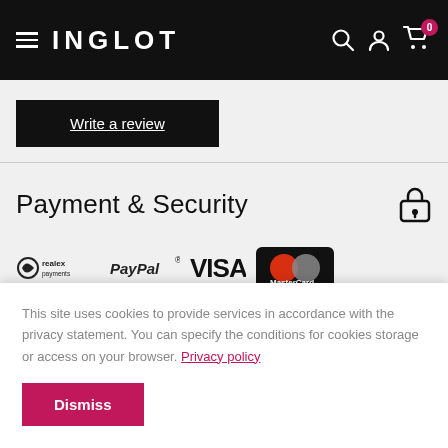INGLOT
Write a review
Payment & Security
[Figure (logo): Payment method logos: Realex Payments, PayPal, VISA, MasterCard]
This site uses cookies to provide services in accordance with the privacy statement. You can specify the conditions for cookies storage or access on your browser. Privacy policy
Dismiss